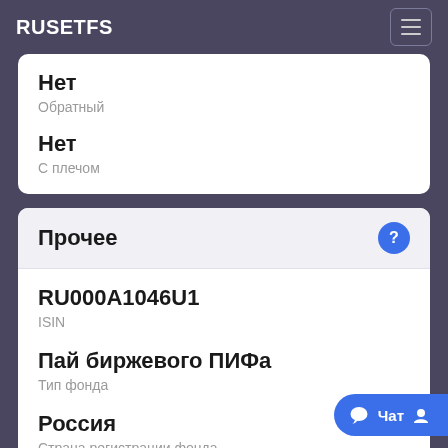RUSETFS
Нет
Обратный
Нет
С плечом
Прочее
RU000A1046U1
ISIN
Пай биржевого ПИФа
Тип фонда
Россия
Страна регистрации фонда